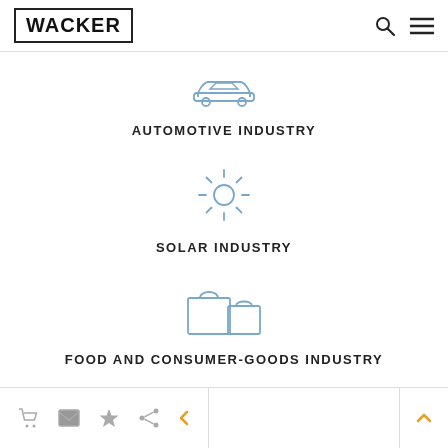WACKER
[Figure (illustration): Car outline icon in light blue]
AUTOMOTIVE INDUSTRY
[Figure (illustration): Sun icon with rays in light blue]
SOLAR INDUSTRY
[Figure (illustration): Shopping bag and handbag icons in light blue]
FOOD AND CONSUMER-GOODS INDUSTRY
Cart, envelope, star, share, back arrow, up arrow icons